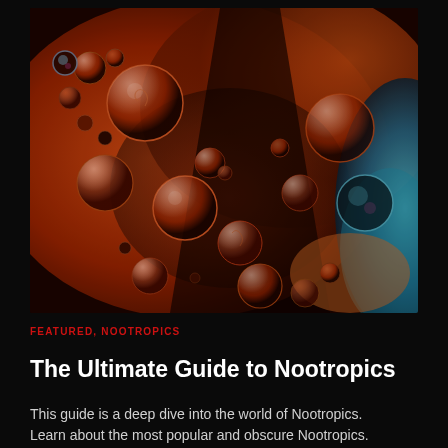[Figure (photo): Macro photograph of colorful oil bubbles on water with deep red, orange, brown tones and blue accents on the right side. Multiple spherical droplets of various sizes reflecting warm reddish-orange colors are visible against a blurred amber-red background.]
FEATURED, NOOTROPICS
The Ultimate Guide to Nootropics
This guide is a deep dive into the world of Nootropics. Learn about the most popular and obscure Nootropics.